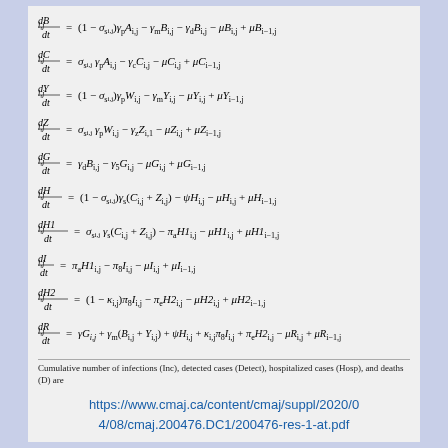Cumulative number of infections (Inc), detected cases (Detect), hospitalized cases (Hosp), and deaths (D) are
https://www.cmaj.ca/content/cmaj/suppl/2020/04/08/cmaj.200476.DC1/200476-res-1-at.pdf